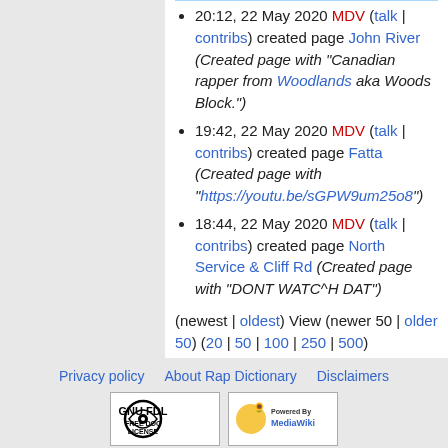20:12, 22 May 2020 MDV (talk | contribs) created page John River (Created page with "Canadian rapper from Woodlands aka Woods Block.")
19:42, 22 May 2020 MDV (talk | contribs) created page Fatta (Created page with "https://youtu.be/sGPW9um25o8")
18:44, 22 May 2020 MDV (talk | contribs) created page North Service & Cliff Rd (Created page with "DONT WATC^H DAT")
(newest | oldest) View (newer 50 | older 50) (20 | 50 | 100 | 250 | 500)
Privacy policy   About Rap Dictionary   Disclaimers